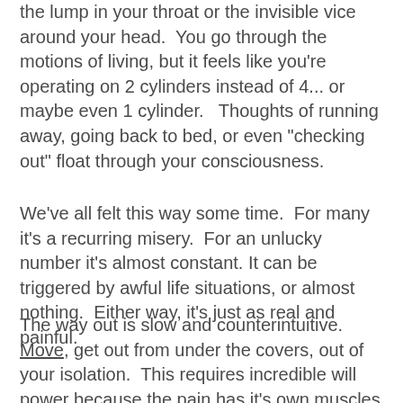the lump in your throat or the invisible vice around your head.  You go through the motions of living, but it feels like you're operating on 2 cylinders instead of 4... or maybe even 1 cylinder.   Thoughts of running away, going back to bed, or even "checking out" float through your consciousness.
We've all felt this way some time.  For many it's a recurring misery.  For an unlucky number it's almost constant. It can be triggered by awful life situations, or almost nothing.  Either way, it's just as real and painful.
The way out is slow and counterintuitive.  Move, get out from under the covers, out of your isolation.  This requires incredible will power because the pain has it's own muscles fighting you.  Exercise can help.  Therapy can help.  Medication can help.  Support groups, DBT, yoga, mindful meditation can help.  Coffee with a friend can help.  Mostly, there's no magic, instant cure, but some relief from the acuteness.  The road to recovery seems possible.   Staying alone in your pain may make it fester and grow.  Sharing it can be a huge relief.  It takes time and hard work to manage or overcome these feelings.  It is a sign of strength to seek